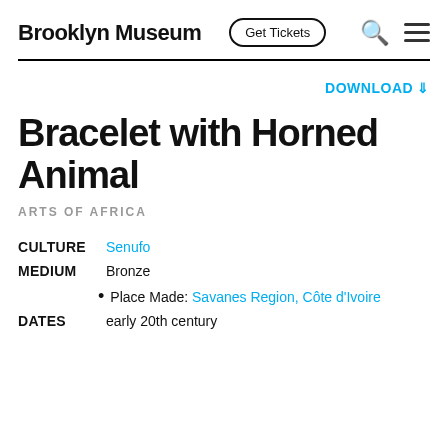Brooklyn Museum | Get Tickets
DOWNLOAD ⬇
Bracelet with Horned Animal
ARTS OF AFRICA
CULTURE  Senufo
MEDIUM  Bronze
Place Made: Savanes Region, Côte d'Ivoire
DATES  early 20th century